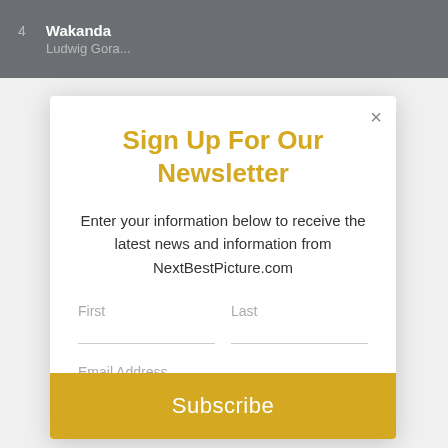[Figure (screenshot): Top dark bar showing track 4 Wakanda 2:20 by Ludwig Gora...]
Sign Up For Our Newsletter
Enter your information below to receive the latest news and information from NextBestPicture.com
First
Last
Email Address
Subscribe
Lauren Edmogno
Will Mavity